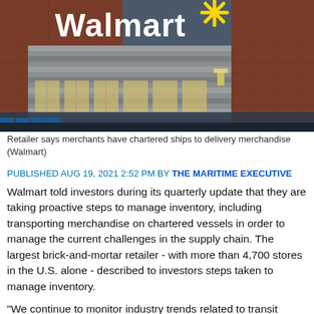[Figure (photo): Exterior photo of a Walmart store building showing the large Walmart logo with yellow spark symbol on a brick and gray facade, with shopping carts in the foreground]
Retailer says merchants have chartered ships to delivery merchandise (Walmart)
PUBLISHED AUG 19, 2021 2:52 PM BY THE MARITIME EXECUTIVE
Walmart told investors during its quarterly update that they are taking proactive steps to manage inventory, including transporting merchandise on chartered vessels in order to manage the current challenges in the supply chain. The largest brick-and-mortar retailer - with more than 4,700 stores in the U.S. alone - described to investors steps taken to manage inventory.
“We continue to monitor industry trends related to transit and...